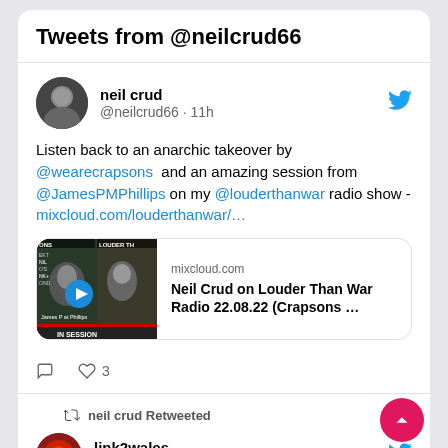Tweets from @neilcrud66
[Figure (screenshot): Tweet by neil crud (@neilcrud66 · 11h): Listen back to an anarchic takeover by @wearecrapsons and an amazing session from @JamesPMPhillips on my @louderthanwar radio show - mixcloud.com/louderthanwar/... with a mixcloud media card showing 'Neil Crud on Louder Than War Radio 22.08.22 (Crapsons ...)']
Listen back to an anarchic takeover by @wearecrapsons  and an amazing session from @JamesPMPhillips on my @louderthanwar radio show - mixcloud.com/louderthanwar/...
neil crud Retweeted
link2wales @link2wales · Aug 22